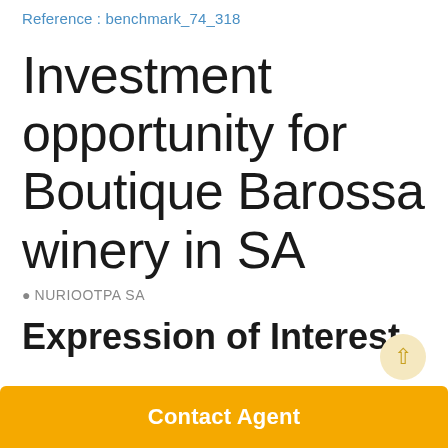Reference : benchmark_74_318
Investment opportunity for Boutique Barossa winery in SA
NURIOOTPA SA
Expression of Interest
Contact Agent